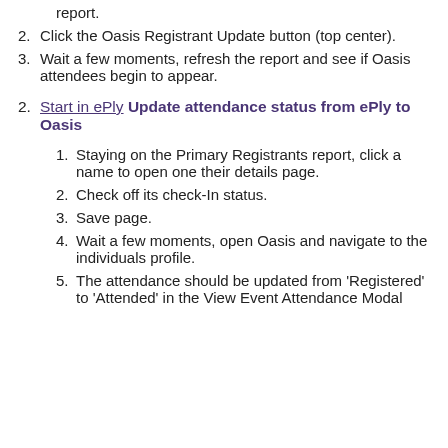report.
Click the Oasis Registrant Update button (top center).
Wait a few moments, refresh the report and see if Oasis attendees begin to appear.
Start in ePly Update attendance status from ePly to Oasis
Staying on the Primary Registrants report, click a name to open one their details page.
Check off its check-In status.
Save page.
Wait a few moments, open Oasis and navigate to the individuals profile.
The attendance should be updated from 'Registered' to 'Attended' in the View Event Attendance Modal